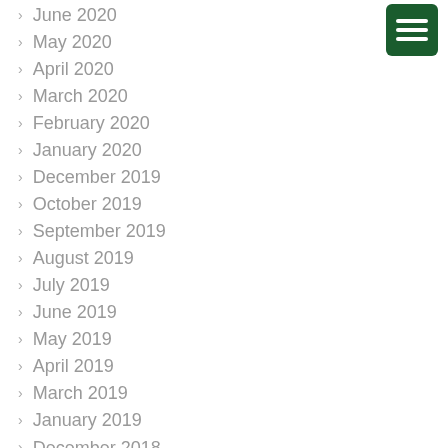June 2020
May 2020
April 2020
March 2020
February 2020
January 2020
December 2019
October 2019
September 2019
August 2019
July 2019
June 2019
May 2019
April 2019
March 2019
January 2019
December 2018
November 2018
October 2018
September 2018
June 2018
May 2018
April 2018
March 2018
February 2018
January 2018